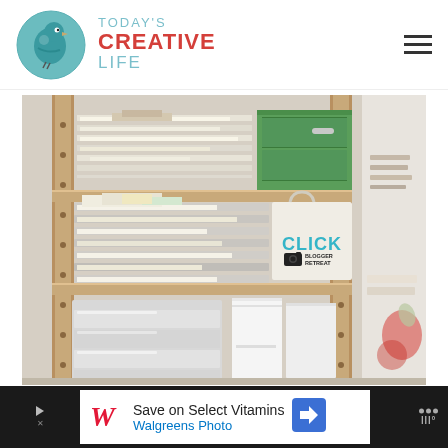[Figure (logo): Today's Creative Life logo — teal circle with bird silhouette and text 'TODAY'S CREATIVE LIFE']
[Figure (photo): Wooden shelving unit filled with craft supplies: paper trays, green drawer box, a white tote bag with 'CLICK BLOGGER RETREAT' in teal text, and plastic organizer drawers]
[Figure (photo): Walgreens advertisement banner: 'Save on Select Vitamins — Walgreens Photo' with Walgreens W logo and navigation arrow icon]